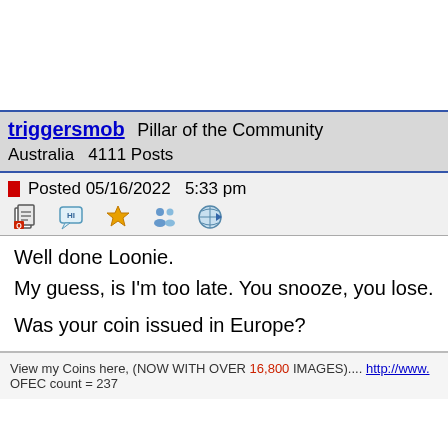triggersmob  Pillar of the Community
Australia   4111 Posts
Posted 05/16/2022  5:33 pm
Well done Loonie.
My guess, is I'm too late. You snooze, you lose.

Was your coin issued in Europe?
View my Coins here, (NOW WITH OVER 16,800 IMAGES).... http://www.
OFEC count = 237